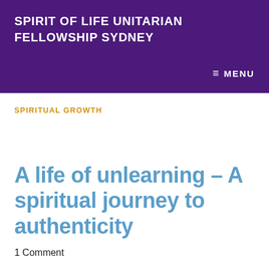SPIRIT OF LIFE UNITARIAN FELLOWSHIP SYDNEY
SPIRITUAL GROWTH
A life of unlearning – A spiritual journey to authenticity
1 Comment